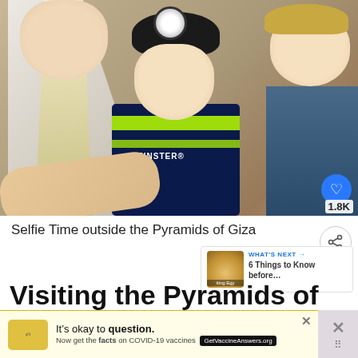[Figure (photo): Selfie photo of a woman with blonde hair and two boys, one wearing a Leinster rugby jersey and Pokémon hat, taken outside the Pyramids of Giza. A like button showing 1.8K is visible in the lower right corner.]
Selfie Time outside the Pyramids of Giza
Visiting the Pyramids of Giza,
[Figure (other): Advertisement banner: It's okay to question. Now get the facts on COVID-19 vaccines. GetVaccineAnswers.org]